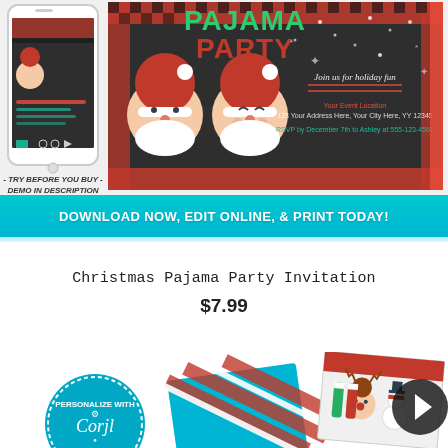[Figure (photo): Product listing image showing a Christmas Pajama Party invitation card with Santa Claus characters on dark plaid background, alongside a phone mockup showing the editable template, with text '- TRY BEFORE YOU BUY - DEMO IN DESCRIPTION']
DOWNLOAD NOW, EDIT ONLINE, & PRINT TODAY!
Christmas Pajama Party Invitation
$7.99
[Figure (photo): Bottom strip showing a 'Personalize with Corjl' badge, Christmas-themed striped and patterned invitation cards fanned out, and a circular navigation arrow button]